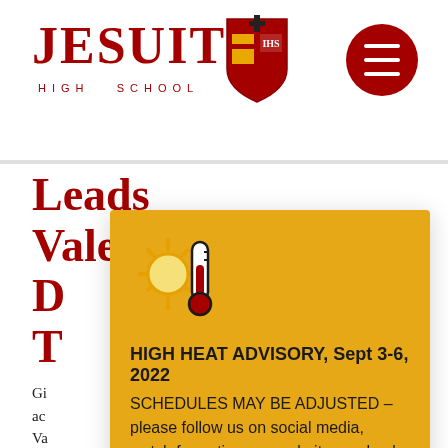[Figure (logo): Jesuit High School logo with shield crest and red hamburger menu button]
LEADS VALEDICTORIAN D T
Gi ac Va aw Fo Sa aw
RE
[Figure (infographic): High Heat Advisory popup modal with sun/thermometer icon. Text reads: HIGH HEAT ADVISORY, Sept 3-6, 2022. SCHEDULES MAY BE ADJUSTED – please follow us on social media, watch for notices on website, or check Google Classrooms for communications. Learn more. Got it!]